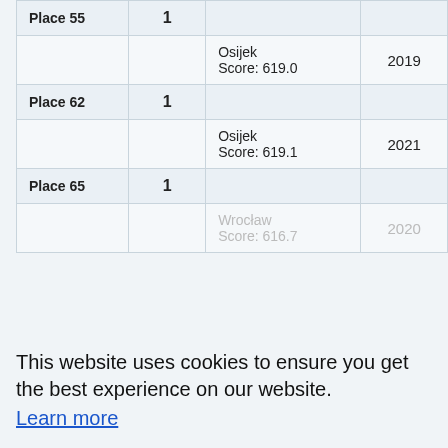| Place/Category | Count | Location/Detail | Year |
| --- | --- | --- | --- |
| Place 55 | 1 |  |  |
|  |  | Osijek
Score: 619.0 | 2019 |
| Place 62 | 1 |  |  |
|  |  | Osijek
Score: 619.1 | 2021 |
| Place 65 | 1 |  |  |
|  |  | Wrocław
Score: 616.7 | 2020 |
|  |  | Air Pistol 3 Positions Men (CASM) |  |
| ISSF Grand Prix |  |  |  |
| Participants: 1 |  |  |  |
| Place 21 | 1 |  |  |
|  |  | Granada
Score: 579... | 2022 |
This website uses cookies to ensure you get the best experience on our website.
Learn more
Got it!